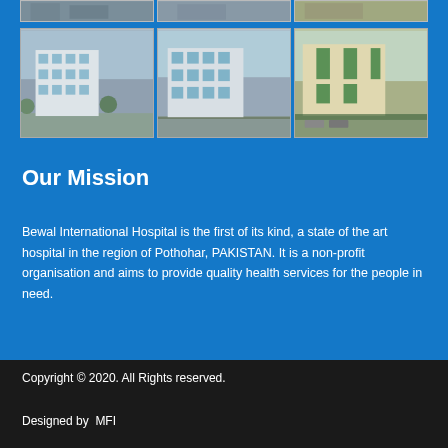[Figure (photo): Row of hospital building photos (partial, top cut off) — three images showing white multi-story hospital buildings]
[Figure (photo): Row of three hospital building exterior photos — modern white multi-story buildings in Pothohar region]
Our Mission
Bewal International Hospital is the first of its kind, a state of the art hospital in the region of Pothohar, PAKISTAN. It is a non-profit organisation and aims to provide quality health services for the people in need.
Copyright © 2020. All Rights reserved.
Designed by MFI